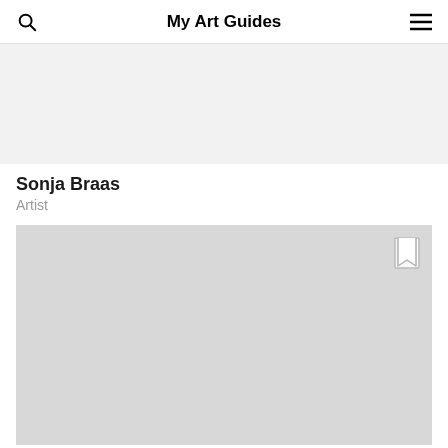My Art Guides
[Figure (other): Gray placeholder image at top, partially visible]
Sonja Braas
Artist
[Figure (other): Light gray placeholder image with bookmark icon in top-right corner]